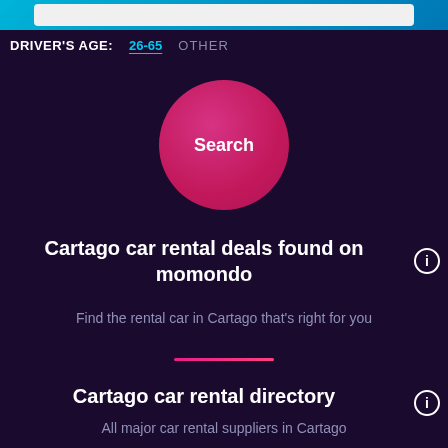[Figure (screenshot): Top search bar area with cyan/blue gradient background]
DRIVER'S AGE: 26-65 OTHER
[Figure (illustration): Pink/magenta circular Search button]
Cartago car rental deals found on momondo
Find the rental car in Cartago that's right for you
Cartago car rental directory
All major car rental suppliers in Cartago